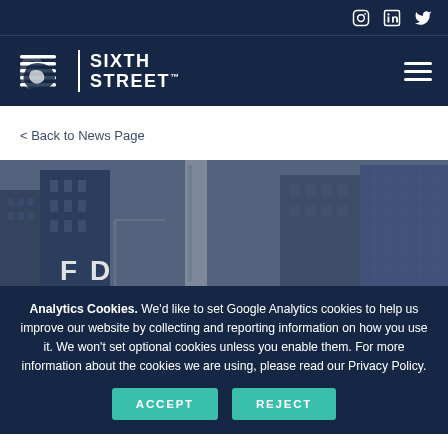Sixth Street – social icons (Instagram, LinkedIn, Twitter)
[Figure (logo): Sixth Street logo with stylized 6 and company name]
< Back to News Page
[Figure (photo): City skyline photo showing tall buildings from street level, dark blue tinted]
Analytics Cookies. We'd like to set Google Analytics cookies to help us improve our website by collecting and reporting information on how you use it. We won't set optional cookies unless you enable them. For more information about the cookies we are using, please read our Privacy Policy.
ACCEPT    REJECT